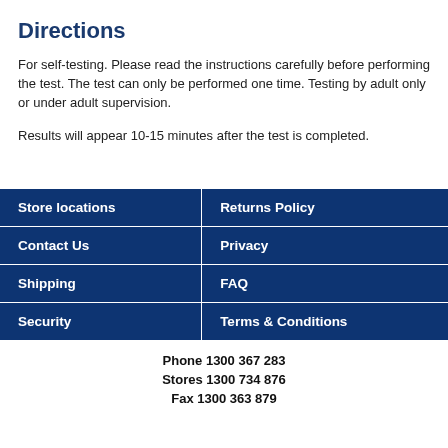Directions
For self-testing. Please read the instructions carefully before performing the test. The test can only be performed one time. Testing by adult only or under adult supervision.
Results will appear 10-15 minutes after the test is completed.
| Store locations | Returns Policy |
| Contact Us | Privacy |
| Shipping | FAQ |
| Security | Terms & Conditions |
Phone  1300 367 283
Stores  1300 734 876
Fax  1300 363 879